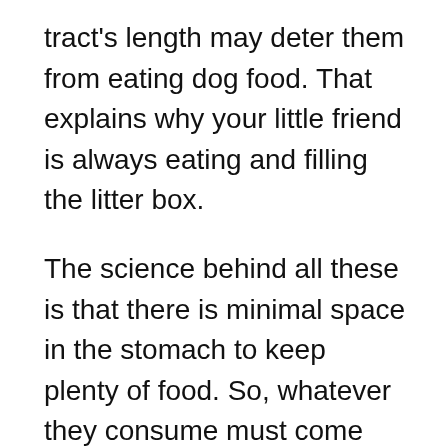tract's length may deter them from eating dog food. That explains why your little friend is always eating and filling the litter box.
The science behind all these is that there is minimal space in the stomach to keep plenty of food. So, whatever they consume must come out within a limited time.
On that note, ferret's intestines only manage to extract the nutrients from meat effectively and not from other foods. For that reason, food that contains